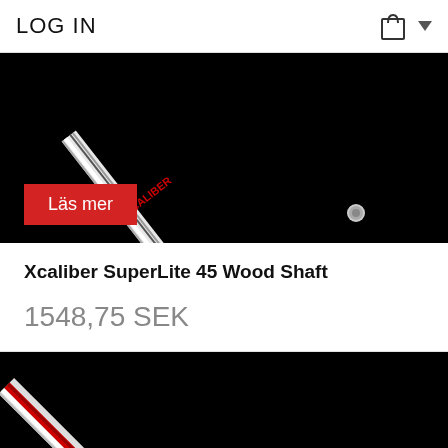LOG IN
[Figure (photo): Golf shaft with Xcaliber branding on black background, with a red 'Läs mer' button in the lower left]
Xcaliber SuperLite 45 Wood Shaft
1548,75 SEK
[Figure (photo): Second golf shaft product image showing a shaft with red and white coloring on black background]